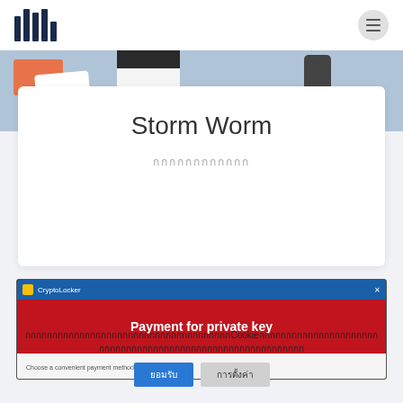Navigation bar with logo and menu button
[Figure (screenshot): Banner illustration with email/devices graphic on blue-grey background]
Storm Worm
กกกกกกกกกกกก
[Figure (screenshot): CryptoLocker ransomware window screenshot showing 'Payment for private key' header in blue and red, with 'Choose a convenient payment method:' text below]
กกกกกกกกกกกกกกกกกกกกกกกกกกกกกกกกกกกกกกCookieกกกกกกกกกกกกกกกกกกกกกกกกกกกกกกกกกกกกกกกกกกกก